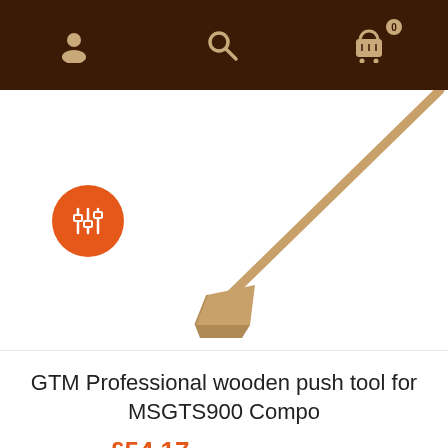[Figure (screenshot): Dark brown navigation bar with user account icon, search icon, and shopping cart icon with badge showing 0]
[Figure (photo): GTM Professional wooden push tool for MSGTS900 Compo — a long wooden-handled tool with a triangular wooden head, photographed diagonally against a white background. An orange circular badge with a comparison/filter icon appears in the lower-left area of the image.]
GTM Professional wooden push tool for MSGTS900 Compo
£54.17 ex VAT (£65.00 inc VAT)